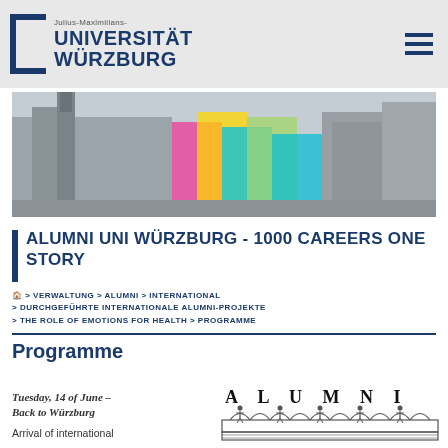Julius-Maximilians- UNIVERSITÄT WÜRZBURG
[Figure (photo): Hero banner showing black-and-white cityscape of Würzburg with colorful translucent geometric blocks overlaid]
ALUMNI UNI WÜRZBURG - 1000 CAREERS ONE STORY
🏠 > VERWALTUNG > ALUMNI > INTERNATIONAL > DURCHGEFÜHRTE INTERNATIONALE ALUMNI-PROJEKTE > THE ROLE OF EMOTIONS FOR HEALTH > PROGRAMME
Programme
Tuesday, 14 of June – Back to Würzburg
Arrival of international
[Figure (illustration): Alumni logo showing the word ALUMNI with illustrated figures of people standing on an architectural bridge/arcade structure]